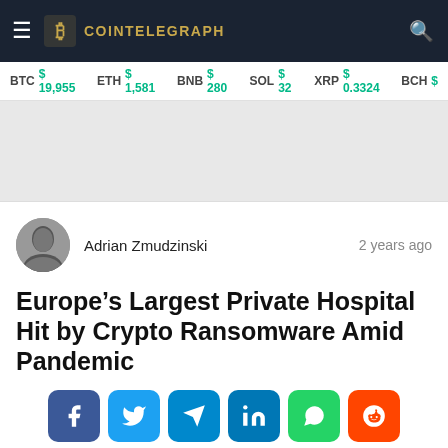COINTELEGRAPH
BTC $19,955   ETH $1,581   BNB $280   SOL $32   XRP $0.3324   BCH $
Adrian Zmudzinski   2 years ago
Europe’s Largest Private Hospital Hit by Crypto Ransomware Amid Pandemic
7314 views  37 shares